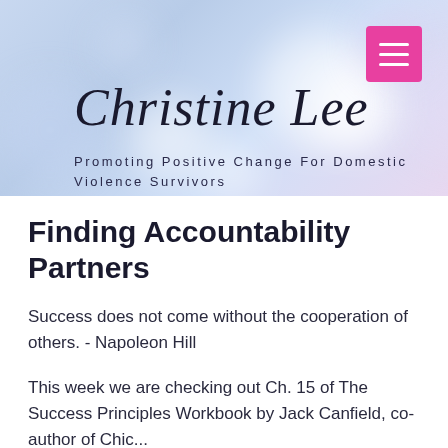[Figure (illustration): Website header with blurred bokeh background in blue/purple tones and a hot-pink hamburger menu button in the top right corner]
Christine Lee
Promoting Positive Change For Domestic Violence Survivors
Finding Accountability Partners
Success does not come without the cooperation of others. - Napoleon Hill
This week we are checking out Ch. 15 of The Success Principles Workbook by Jack Canfield, co-author of Chic...